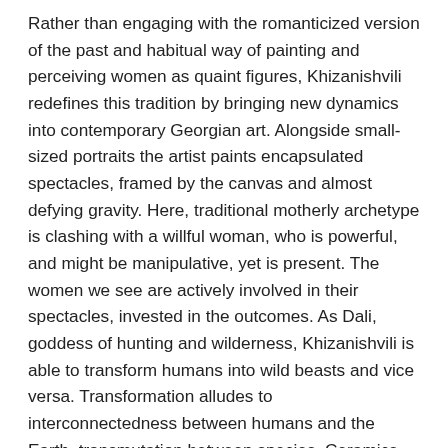Rather than engaging with the romanticized version of the past and habitual way of painting and perceiving women as quaint figures, Khizanishvili redefines this tradition by bringing new dynamics into contemporary Georgian art. Alongside small-sized portraits the artist paints encapsulated spectacles, framed by the canvas and almost defying gravity. Here, traditional motherly archetype is clashing with a willful woman, who is powerful, and might be manipulative, yet is present. The women we see are actively involved in their spectacles, invested in the outcomes. As Dali, goddess of hunting and wilderness, Khizanishvili is able to transform humans into wild beasts and vice versa. Transformation alludes to interconnectedness between humans and the Earth, transmutation between species. Ceramics created by Khizanishvili and presented for the first time at this exhibition, also underline the connection with the terrain through their medium. Clay objects are fragmentized and free-standing, three-dimensional representation of Khizanishvili's visions. Symbolic crown is every woman's crown, but also crown of King Tamar.